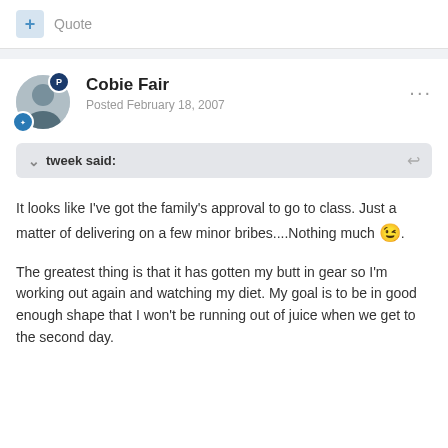+ Quote
Cobie Fair
Posted February 18, 2007
tweek said:
It looks like I've got the family's approval to go to class. Just a matter of delivering on a few minor bribes....Nothing much 😉.
The greatest thing is that it has gotten my butt in gear so I'm working out again and watching my diet. My goal is to be in good enough shape that I won't be running out of juice when we get to the second day.